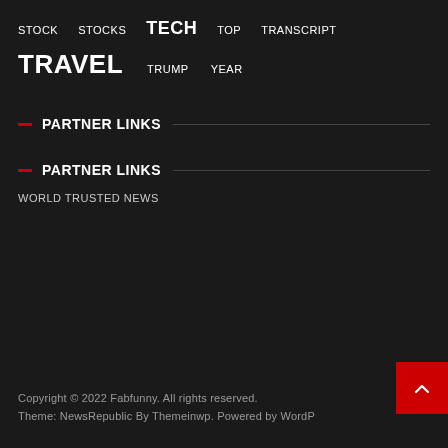STOCK   STOCKS   TECH   TOP   TRANSCRIPT
TRAVEL   TRUMP   YEAR
PARTNER LINKS
PARTNER LINKS
WORLD TRUSTED NEWS
Copyright © 2022 Fabfunny. All rights reserved.
Theme: NewsRepublic By Themeinwp. Powered by WordP...